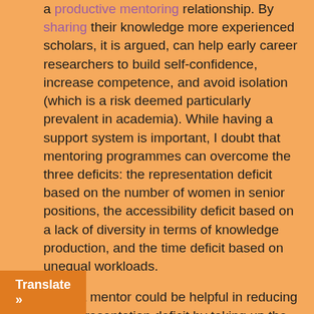a productive mentoring relationship. By sharing their knowledge more experienced scholars, it is argued, can help early career researchers to build self-confidence, increase competence, and avoid isolation (which is a risk deemed particularly prevalent in academia). While having a support system is important, I doubt that mentoring programmes can overcome the three deficits: the representation deficit based on the number of women in senior positions, the accessibility deficit based on a lack of diversity in terms of knowledge production, and the time deficit based on unequal workloads.

Sure, a mentor could be helpful in reducing the representation deficit by taking up the role of a sponsor and collaborator. Not only has it been proven that being mentored  increases confidence, a mentor can introduce early career
Translate »